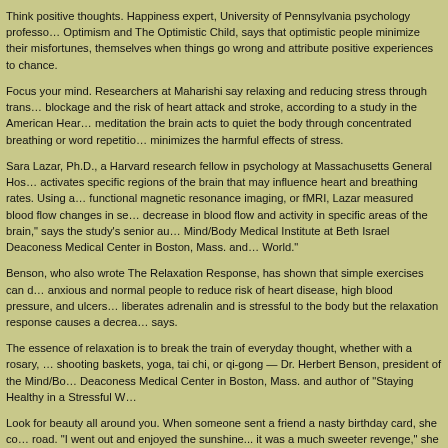Think positive thoughts. Happiness expert, University of Pennsylvania psychology professor, author of Learned Optimism and The Optimistic Child, says that optimistic people minimize their misfortunes, don't blame themselves when things go wrong and attribute positive experiences to chance.
Focus your mind. Researchers at Maharishi say relaxing and reducing stress through transcendental meditation reduces blockage and the risk of heart attack and stroke, according to a study in the American Heart Association journal. During meditation the brain acts to quiet the body through concentrated breathing or word repetition. This process also minimizes the harmful effects of stress.
Sara Lazar, Ph.D., a Harvard research fellow in psychology at Massachusetts General Hospital, says that meditation activates specific regions of the brain that may influence heart and breathing rates. Using a brain scan technique called functional magnetic resonance imaging, or fMRI, Lazar measured blood flow changes in several brain regions. "We see a decrease in blood flow and activity in specific areas of the brain," says the study's senior author Herbert Benson of the Mind/Body Medical Institute at Beth Israel Deaconess Medical Center in Boston, Mass. and author of "Timeless Healing: The Power and Biology of Belief" and "The Wellness Book: The Comprehensive Guide to Maintaining Health and Treating Stress-Related World."
Benson, who also wrote The Relaxation Response, has shown that simple exercises can dramatically help both chronically anxious and normal people to reduce risk of heart disease, high blood pressure, and ulcers. "The fight-or-flight response liberates adrenalin and is stressful to the body but the relaxation response causes a decrease in metabolism," Benson says.
The essence of relaxation is to break the train of everyday thought, whether with a rosary, meditation, prayer, knitting, shooting baskets, yoga, tai chi, or qi-gong — Dr. Herbert Benson, president of the Mind/Body Medical Institute at Beth Israel Deaconess Medical Center in Boston, Mass. and author of "Staying Healthy in a Stressful World."
Look for beauty all around you. When someone sent a friend a nasty birthday card, she could have been sent down a dark road. "I went out and enjoyed the sunshine... it was a much sweeter revenge," she explained.
Smell the roses. Aromatherapy can help you find peace by working through the brain — the limbic system that controls emotions. Aromas such as bergamot, atlas cedar, cypress, jasmine, juniper, neroli, frankincense, rose, sandalwood, and ylang ylang may balance the nervous system, ease worry and stress, lift melancholy, encourage positive thinking, ease obsessions and compulsions, hostility, and panic.
Work your body. Aerobic exercise may lead to reduced output of fight-or-flight hormones and may help anxiety-prone people. This may be part of why very fit people seem better able to tolerate stress. Aerobic...